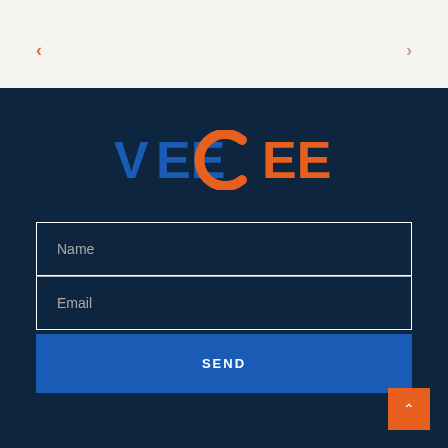< >
[Figure (logo): VEECEE logo with VEE in blue and CEE in orange on dark navy background]
Name
Email
SEND